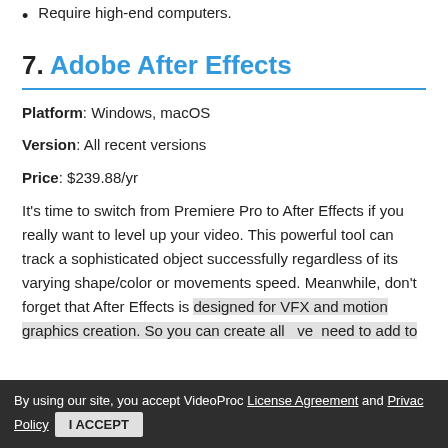Require high-end computers.
7. Adobe After Effects
Platform: Windows, macOS
Version: All recent versions
Price: $239.88/yr
It's time to switch from Premiere Pro to After Effects if you really want to level up your video. This powerful tool can track a sophisticated object successfully regardless of its varying shape/color or movements speed. Meanwhile, don't forget that After Effects is designed for VFX and motion graphics creation. So you can create all...ve...need to add to
By using our site, you accept VideoProc License Agreement and Privacy Policy  I ACCEPT